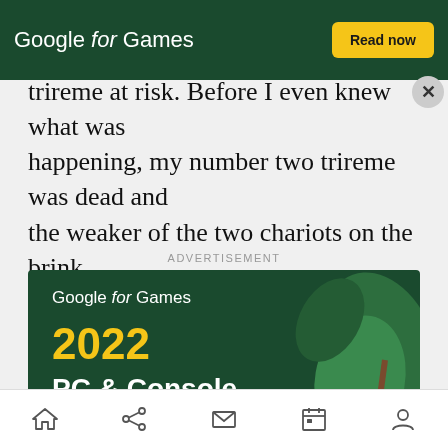shape... home... trireme at risk. Before I even knew what was happening, my number two trireme was dead and the weaker of the two chariots on the brink.
[Figure (screenshot): Top banner advertisement for Google for Games with dark green background, white italic text 'Google for Games', yellow 'Read now' button, and a circular close (X) button]
ADVERTISEMENT
[Figure (screenshot): Main advertisement for Google for Games 2022 PC & Console Insights Report on dark green background with decorative leaves, yellow '2022' heading, white bold text 'PC & Console Insights Report', and yellow 'Read now' button]
Home | Share | Mail | Calendar | Profile — navigation bar icons